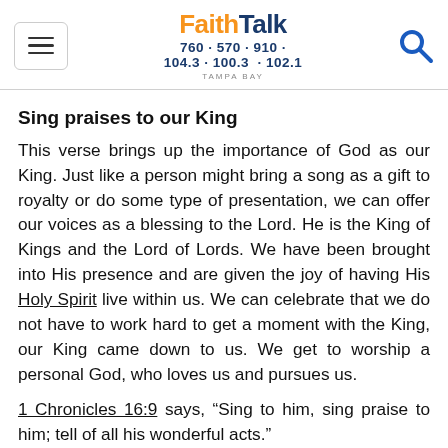FaithTalk 760 570 910 104.3 100.3 102.1 TAMPA BAY
Sing praises to our King
This verse brings up the importance of God as our King. Just like a person might bring a song as a gift to royalty or do some type of presentation, we can offer our voices as a blessing to the Lord. He is the King of Kings and the Lord of Lords. We have been brought into His presence and are given the joy of having His Holy Spirit live within us. We can celebrate that we do not have to work hard to get a moment with the King, our King came down to us. We get to worship a personal God, who loves us and pursues us.
1 Chronicles 16:9 says, “Sing to him, sing praise to him; tell of all his wonderful acts.”
Part of the responsibility in singing is witnessing that